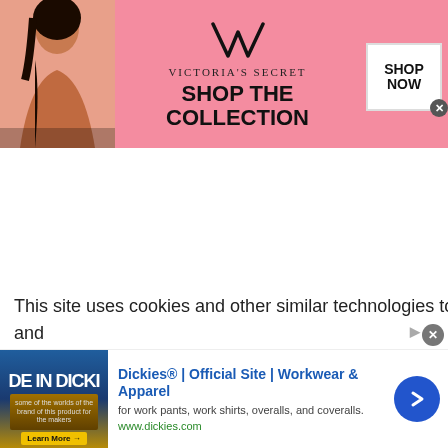[Figure (photo): Victoria's Secret advertisement banner with model, logo, 'SHOP THE COLLECTION' text, and 'SHOP NOW' button]
Similar Jobs to Import/Export Administrator in Colombia
[Figure (illustration): Green button with text 'See Additional Similar Jobs' and arrow icon]
This site uses cookies and other similar technologies to provide site functionality, analyze traffic and usage, and
[Figure (photo): Dickies advertisement: 'Dickies® | Official Site | Workwear & Apparel' for work pants, work shirts, overalls, and coveralls. www.dickies.com]